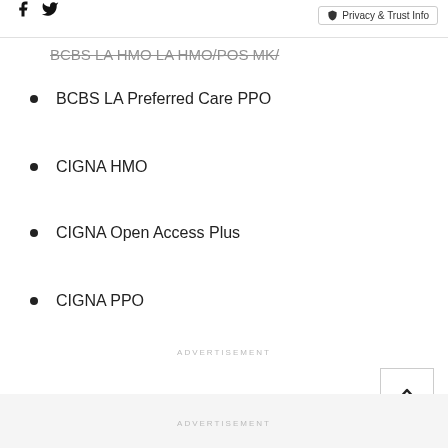Facebook Twitter | Privacy & Trust Info
BCBS LA HMO LA HMO/POS MK/
BCBS LA Preferred Care PPO
CIGNA HMO
CIGNA Open Access Plus
CIGNA PPO
ADVERTISEMENT
ADVERTISEMENT